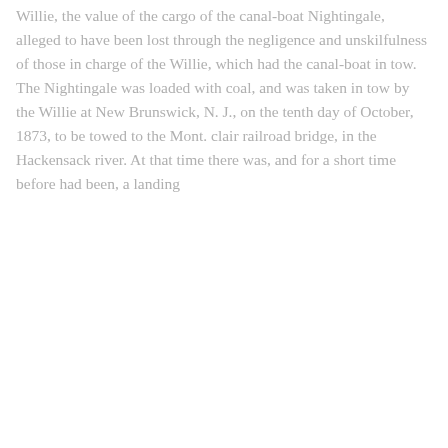Willie, the value of the cargo of the canal-boat Nightingale, alleged to have been lost through the negligence and unskilfulness of those in charge of the Willie, which had the canal-boat in tow. The Nightingale was loaded with coal, and was taken in tow by the Willie at New Brunswick, N. J., on the tenth day of October, 1873, to be towed to the Mont. clair railroad bridge, in the Hackensack river. At that time there was, and for a short time before had been, a landing